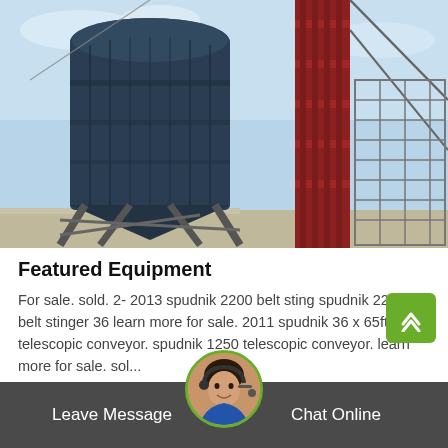[Figure (photo): Industrial equipment photo showing a large dark blue cylindrical silo or tank on a steel frame structure, with a tall red metal column/conveyor support beside it, against a sky background.]
Featured Equipment
For sale. sold. 2- 2013 spudnik 2200 belt sting spudnik 2200 belt stinger 36 learn more for sale. 2011 spudnik 36 x 65ft telescopic conveyor. spudnik 1250 telescopic conveyor. learn more for sale. sol...
GET LATEST PRICE
Leave Message
Chat Online